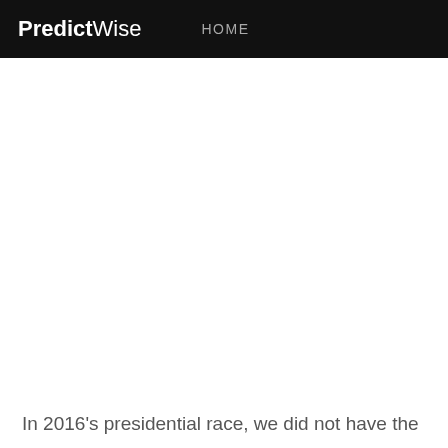PredictWise HOME
In 2016's presidential race, we did not have the